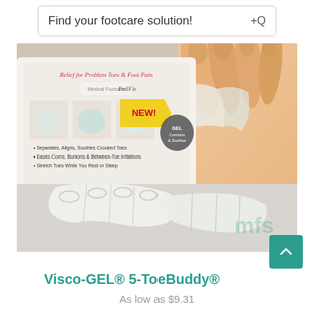Find your footcare solution!
[Figure (photo): Product photo of Visco-GEL 5-ToeBuddy gel toe separator device from PediFix brand, showing packaging with 'NEW!' label, relief claims for problem toes and foot pain, and two clear silicone gel toe separators in foreground with a close-up of toes wearing the device in background.]
Visco-GEL® 5-ToeBuddy®
As low as $9.31